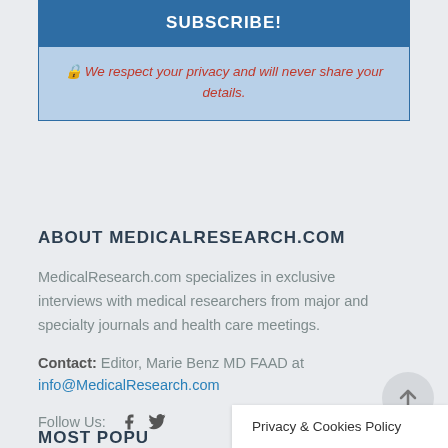SUBSCRIBE!
🔒 We respect your privacy and will never share your details.
ABOUT MEDICALRESEARCH.COM
MedicalResearch.com specializes in exclusive interviews with medical researchers from major and specialty journals and health care meetings.
Contact: Editor, Marie Benz MD FAAD at info@MedicalResearch.com
Follow Us: [facebook] [twitter]
MOST POPU…
Privacy & Cookies Policy